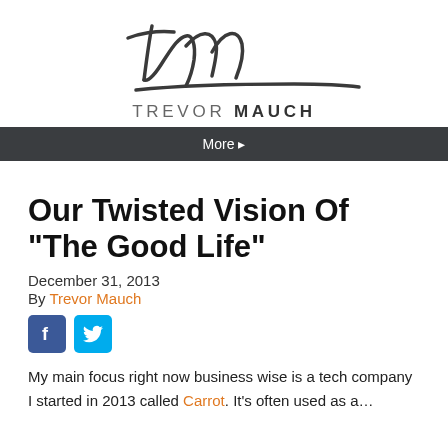[Figure (logo): Stylized cursive TM signature logo in dark gray]
TREVOR MAUCH
More ▸
Our Twisted Vision Of “The Good Life”
December 31, 2013
By Trevor Mauch
[Figure (illustration): Facebook and Twitter social share buttons]
My main focus right now business wise is a tech company I started in 2013 called Carrot. It’s often described as a...